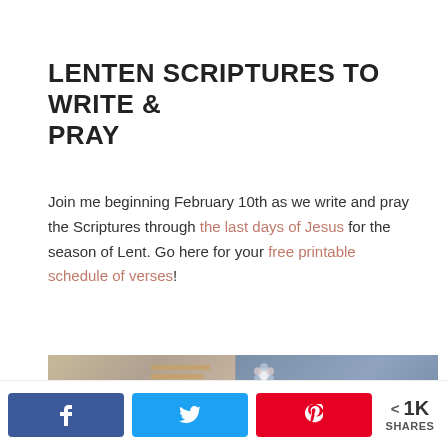LENTEN SCRIPTURES TO WRITE & PRAY
Join me beginning February 10th as we write and pray the Scriptures through the last days of Jesus for the season of Lent. Go here for your free printable schedule of verses!
[Figure (photo): Open Bible showing Psalm 119 page with highlighted verses on the left, and a decorative card on the right reading Psalm 119 Write the Word, Pray the W... with floral design on blue-gray background.]
< 1K SHARES (share buttons: Facebook, Twitter, Pinterest)